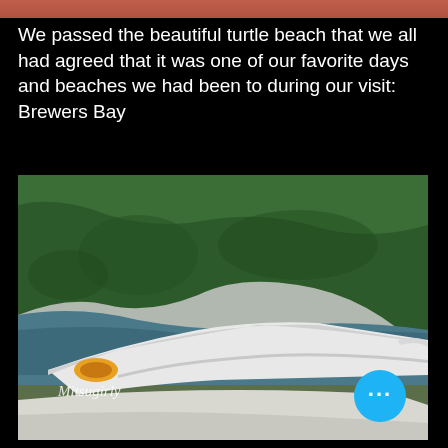We passed the beautiful turtle beach that we all had agreed that it was one of our favorite days and beaches we had been to during our visit: Brewers Bay
[Figure (photo): View from airplane window showing aircraft wing, green forested hillside, and a bay of water below, with watermark text 'Mitsugirly' in the upper left. A blue circular 'more options' button with three dots is overlaid in the bottom right corner.]